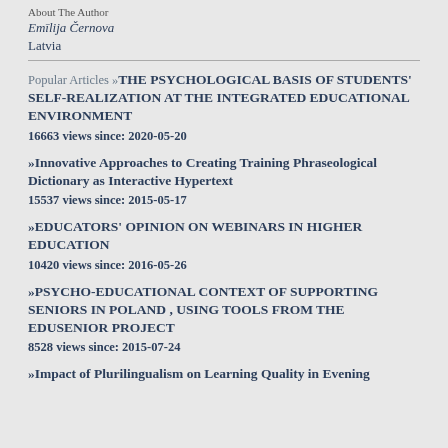About The Author
Emīlija Černova
Latvia
Popular Articles »THE PSYCHOLOGICAL BASIS OF STUDENTS' SELF-REALIZATION AT THE INTEGRATED EDUCATIONAL ENVIRONMENT
16663 views since: 2020-05-20
»Innovative Approaches to Creating Training Phraseological Dictionary as Interactive Hypertext
15537 views since: 2015-05-17
»EDUCATORS' OPINION ON WEBINARS IN HIGHER EDUCATION
10420 views since: 2016-05-26
»PSYCHO-EDUCATIONAL CONTEXT OF SUPPORTING SENIORS IN POLAND , USING TOOLS FROM THE EDUSENIOR PROJECT
8528 views since: 2015-07-24
»Impact of Plurilingualism on Learning Quality in Evening